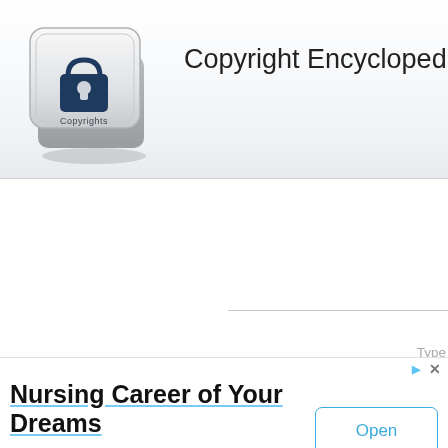Copyright Encyclopedia
[Figure (illustration): 3D keyboard key icon with a padlock/copyright symbol and the word 'Copyrights' on it]
Type
Registration Numb
Date of Pu
Date of
[Figure (screenshot): Advertisement banner: 'Nursing Career of Your Dreams' with Open button. Text: 'We really get to live and work here. And we invite you to join us. St. Charles Health System']